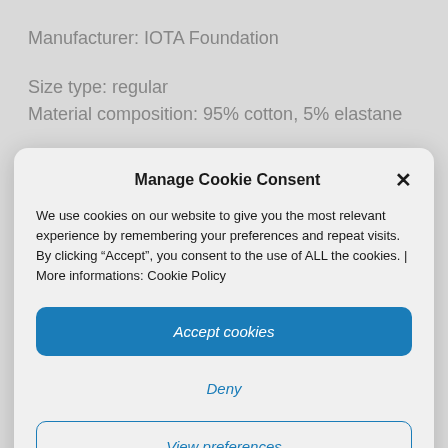Manufacturer: IOTA Foundation
Size type: regular
Material composition: 95% cotton, 5% elastane
Manage Cookie Consent
We use cookies on our website to give you the most relevant experience by remembering your preferences and repeat visits. By clicking “Accept”, you consent to the use of ALL the cookies. | More informations: Cookie Policy
Accept cookies
Deny
View preferences